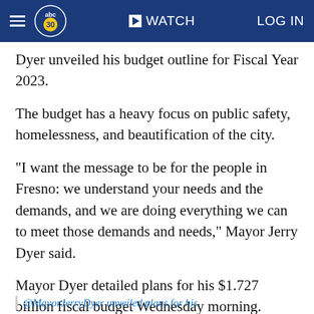abc30 WATCH LOG IN
Dyer unveiled his budget outline for Fiscal Year 2023.
The budget has a heavy focus on public safety, homelessness, and beautification of the city.
"I want the message to be for the people in Fresno: we understand your needs and the demands, and we are doing everything we can to meet those demands and needs," Mayor Jerry Dyer said.
Mayor Dyer detailed plans for his $1.727 billion fiscal budget Wednesday morning.
@MayorJerryDyer unveiled plans for his